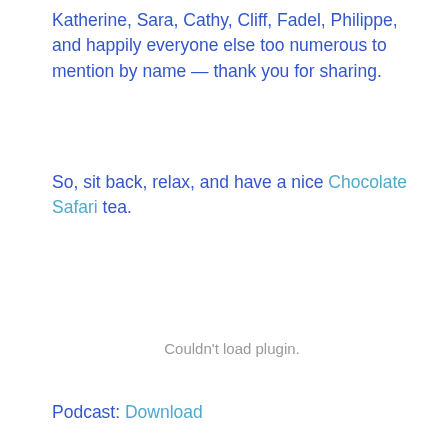Katherine, Sara, Cathy, Cliff, Fadel, Philippe, and happily everyone else too numerous to mention by name — thank you for sharing.
So, sit back, relax, and have a nice Chocolate Safari tea.
Couldn't load plugin.
Podcast: Download